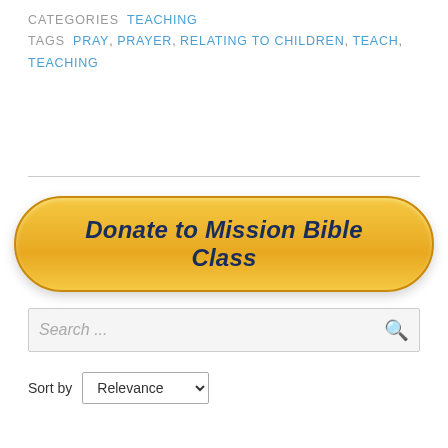CATEGORIES  TEACHING
TAGS  PRAY, PRAYER, RELATING TO CHILDREN, TEACH, TEACHING
[Figure (other): Orange rounded button with dark blue italic bold text reading 'Donate to Mission Bible Class']
Search ...
Sort by  Relevance